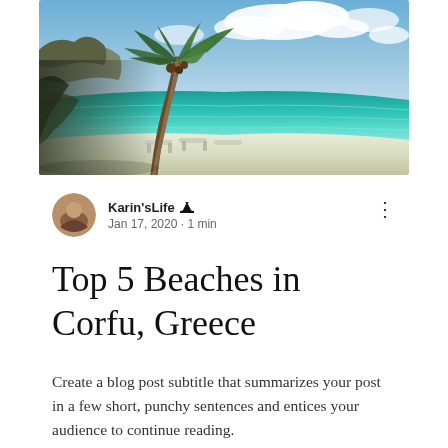[Figure (photo): Beach scene with a palm tree in the foreground, turquoise ocean water, white sandy beach with sun loungers, and a partly cloudy blue sky in the background.]
Karin'sLife 👑 Jan 17, 2020 · 1 min
Top 5 Beaches in Corfu, Greece
Create a blog post subtitle that summarizes your post in a few short, punchy sentences and entices your audience to continue reading.